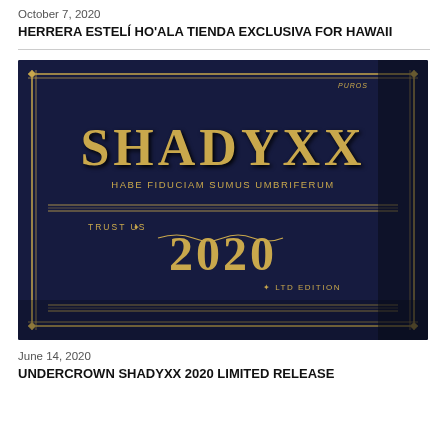October 7, 2020
HERRERA ESTELÍ HO'ALA TIENDA EXCLUSIVA FOR HAWAII
[Figure (photo): Close-up photograph of a dark navy blue and gold embossed cigar box labeled SHADYXX with text 'HABE FIDUCIAM SUMUS UMBRIFERUM', 'TRUST US', '2020', 'LTD EDITION']
June 14, 2020
UNDERCROWN SHADYXX 2020 LIMITED RELEASE